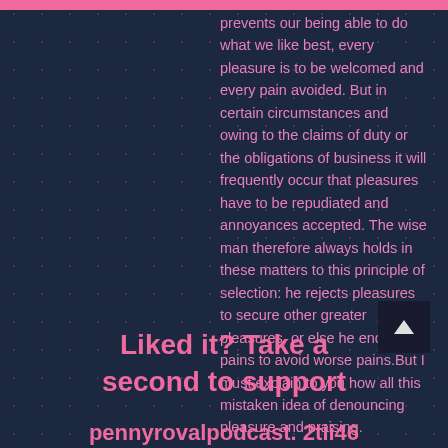prevents our being able to do what we like best, every pleasure is to be welcomed and every pain avoided. But in certain circumstances and owing to the claims of duty or the obligations of business it will frequently occur that pleasures have to be repudiated and annoyances accepted. The wise man therefore always holds in these matters to this principle of selection: he rejects pleasures to secure other greater pleasures, or else he endures pains to avoid worse pains.But I must explain to you how all this mistaken idea of denouncing pleasure and praising.
Liked it? Take a second to support pennyrovalpodcast. 2tii46